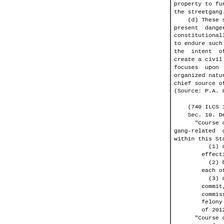property to further the financi the streetgang.
    (d) These streetgangs' ac present danger to public ord constitutionally protected. No s to endure such activities witho the intent of the General Ass create a civil remedy against st focuses upon patterns of crimi organized nature of streetgangs chief source of their success.
(Source: P.A. 87-932.)

    (740 ILCS 147/10)
    Sec. 10. Definitions.
      "Course or pattern of crim gang-related criminal offenses within this State when:
          (1) at least one such of          effective date of this Act;
          (2) both offenses were c          each other; and
          (3) at least one offense          commit,  conspiracy  to  com          commission of any offense d          felony under the Criminal Co          of 2012.
      "Course or pattern of crimi more acts of criminal defacement 1.3 of the Criminal Code of 196 if the defacement includes a si